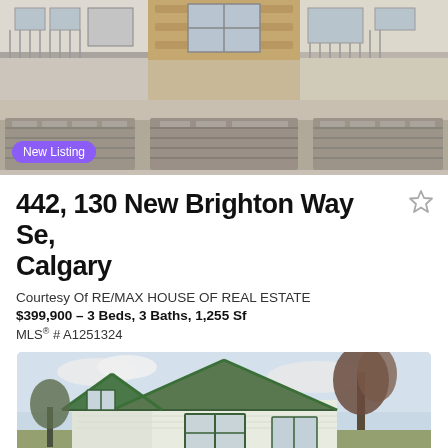[Figure (photo): Exterior photo of a townhouse complex showing three garage doors and upper floors with balconies]
New Listing
442, 130 New Brighton Way Se, Calgary
Courtesy Of RE/MAX HOUSE OF REAL ESTATE
$399,900 – 3 Beds, 3 Baths, 1,255 Sf
MLS® # A1251324
[Figure (photo): Exterior photo of a single-family house with green trim roof and siding, trees visible]